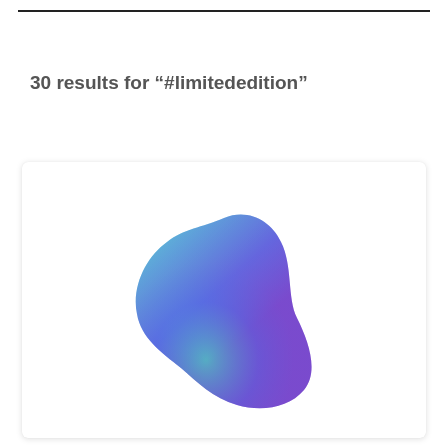30 results for "#limitededition"
[Figure (illustration): A blob-shaped graphic with a blue-to-purple-to-green gradient, resembling a rounded organic shape, centered in a white card with a subtle shadow.]